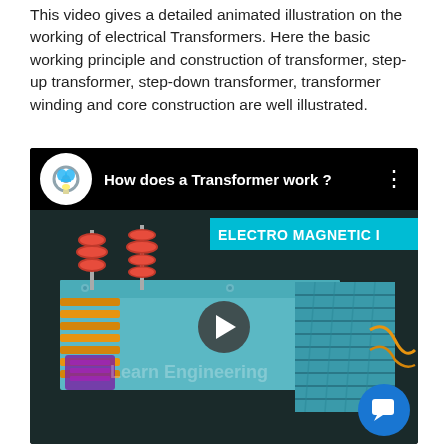This video gives a detailed animated illustration on the working of electrical Transformers. Here the basic working principle and construction of transformer, step-up transformer, step-down transformer, transformer winding and core construction are well illustrated.
[Figure (screenshot): YouTube video thumbnail titled 'How does a Transformer work?' showing a 3D animated cutaway illustration of an electrical transformer with red disc insulators, a teal/cyan colored laminated core, orange copper windings, and a cyan banner reading 'ELECTRO MAGNETIC I'. A play button is centered on the video. A blue chat bubble icon appears in the bottom right corner. The channel logo shows a gear with a brain and lightbulb.]